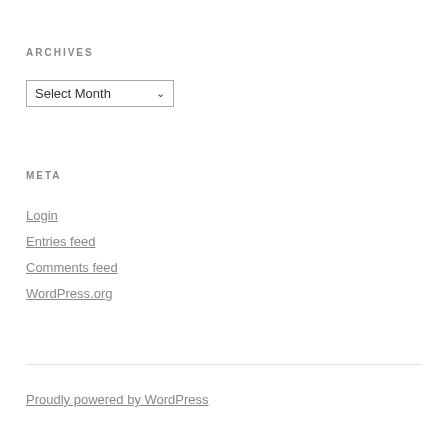ARCHIVES
Select Month
META
Login
Entries feed
Comments feed
WordPress.org
Proudly powered by WordPress